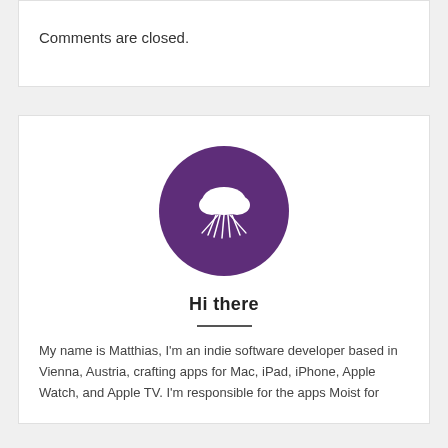Comments are closed.
[Figure (logo): Purple circle with white cloud and lightning bolt icon]
Hi there
My name is Matthias, I'm an indie software developer based in Vienna, Austria, crafting apps for Mac, iPad, iPhone, Apple Watch, and Apple TV. I'm responsible for the apps Moist for...